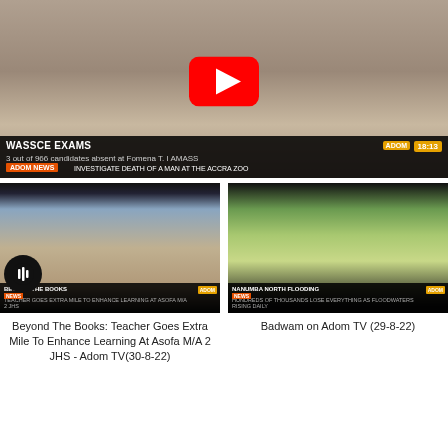[Figure (screenshot): YouTube video thumbnail showing a student with crutches on a road. News ticker at bottom: WASSCE EXAMS - 3 out of 966 candidates absent at Fomena T. I AMASS. Adom News tag and time 18:13. Play button overlay.]
[Figure (screenshot): Video thumbnail for 'Beyond The Books: Teacher Goes Extra Mile To Enhance Learning At Asofa M/A 2 JHS - Adom TV(30-8-22)'. Shows students and a presenter on Adom TV news set.]
Beyond The Books: Teacher Goes Extra Mile To Enhance Learning At Asofa M/A 2 JHS - Adom TV(30-8-22)
[Figure (screenshot): Video thumbnail for 'Badwam on Adom TV (29-8-22)'. Shows a reporter in a flooded field with people in background. Nanumba North Flooding headline.]
Badwam on Adom TV (29-8-22)
[Figure (screenshot): Bottom-left video thumbnail showing a female presenter on a TV set.]
[Figure (screenshot): Bottom-right video thumbnail showing a purple-themed TV studio with two people and a '47' graphic.]